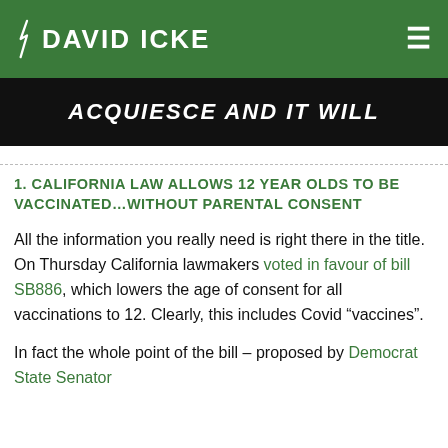DAVID ICKE
[Figure (photo): Dark background banner image with bold white italic text reading 'ACQUIESCE AND IT WILL']
1. CALIFORNIA LAW ALLOWS 12 YEAR OLDS TO BE VACCINATED...WITHOUT PARENTAL CONSENT
All the information you really need is right there in the title. On Thursday California lawmakers voted in favour of bill SB886, which lowers the age of consent for all vaccinations to 12. Clearly, this includes Covid “vaccines”.
In fact the whole point of the bill – proposed by Democrat State Senator